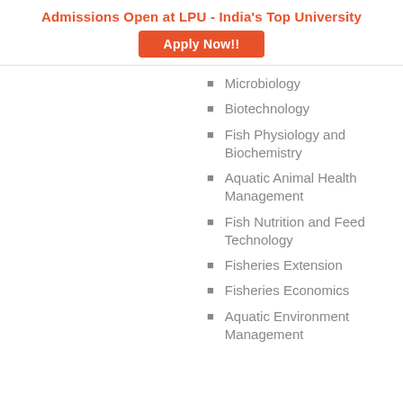[Figure (infographic): LPU admissions advertisement banner with title and Apply Now button]
Microbiology
Biotechnology
Fish Physiology and Biochemistry
Aquatic Animal Health Management
Fish Nutrition and Feed Technology
Fisheries Extension
Fisheries Economics
Aquatic Environment Management